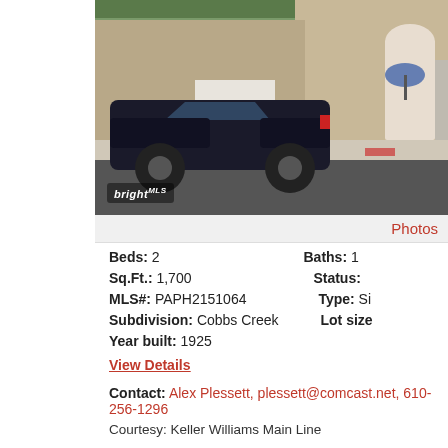[Figure (photo): Street view photo of a property showing a dark car parked in front of a stone building with a white arched gate, bright watermark logo visible in bottom left corner]
Photos
Beds: 2
Baths: 1
Sq.Ft.: 1,700
Status:
MLS#: PAPH2151064
Type: Si
Subdivision: Cobbs Creek
Lot size
Year built: 1925
View Details
Contact: Alex Plessett, plessett@comcast.net, 610-256-1296
Courtesy: Keller Williams Main Line